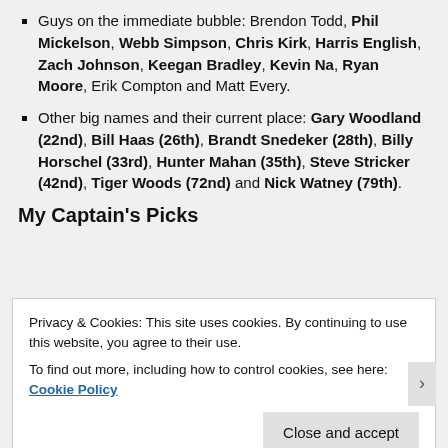Guys on the immediate bubble: Brendon Todd, Phil Mickelson, Webb Simpson, Chris Kirk, Harris English, Zach Johnson, Keegan Bradley, Kevin Na, Ryan Moore, Erik Compton and Matt Every.
Other big names and their current place: Gary Woodland (22nd), Bill Haas (26th), Brandt Snedeker (28th), Billy Horschel (33rd), Hunter Mahan (35th), Steve Stricker (42nd), Tiger Woods (72nd) and Nick Watney (79th).
My Captain's Picks
Privacy & Cookies: This site uses cookies. By continuing to use this website, you agree to their use. To find out more, including how to control cookies, see here: Cookie Policy